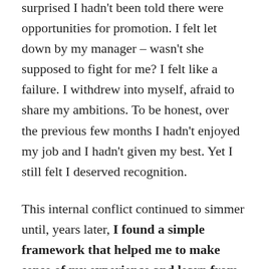surprised I hadn't been told there were opportunities for promotion. I felt let down by my manager – wasn't she supposed to fight for me? I felt like a failure. I withdrew into myself, afraid to share my ambitions. To be honest, over the previous few months I hadn't enjoyed my job and I hadn't given my best. Yet I still felt I deserved recognition.
This internal conflict continued to simmer until, years later, I found a simple framework that helped me to make sense of my experience and learn from it. Mike Lehr separates out